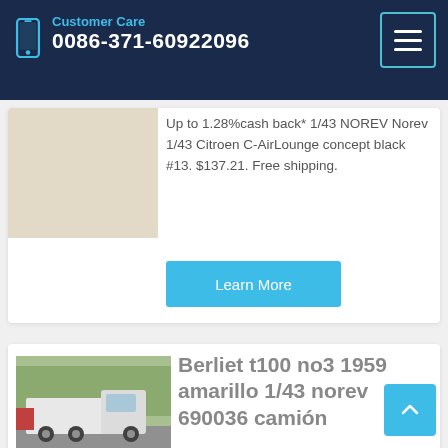Customer Care 0086-371-60922096
Up to 1.28%cash back* 1/43 NOREV Norev 1/43 Citroen C-AirLounge concept black #13. $137.21. Free shipping.
Learn More
[Figure (photo): Truck/vehicle product listing image placeholder]
Berliet t100 no3 1959 amarillo 1/43 norev 690036 camión
Las mejores ofertas para Berliet t100 no3 1959 amarillo 1/43 norev 690036